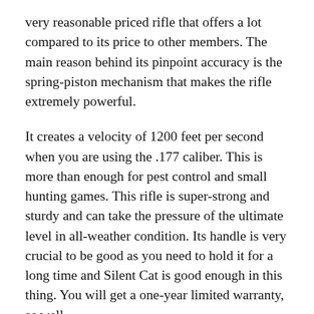very reasonable priced rifle that offers a lot compared to its price to other members. The main reason behind its pinpoint accuracy is the spring-piston mechanism that makes the rifle extremely powerful.
It creates a velocity of 1200 feet per second when you are using the .177 caliber. This is more than enough for pest control and small hunting games. This rifle is super-strong and sturdy and can take the pressure of the ultimate level in all-weather condition. Its handle is very crucial to be good as you need to hold it for a long time and Silent Cat is good enough in this thing. You will get a one-year limited warranty, as well.
This version of Gamo is very suitable for using different kinds of accessories. In fact, you will get a 4×32 scope with the rifle along with a 1-piece mount. And